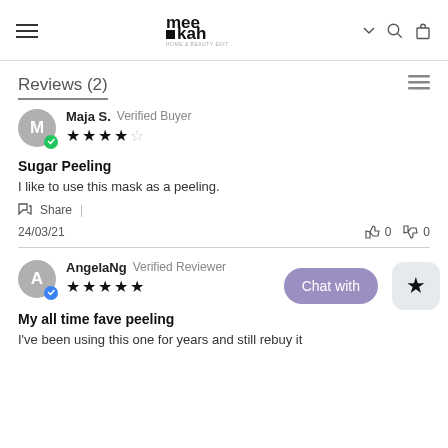meekah — navigation header with hamburger menu, logo, search and cart icons
Reviews (2)
Maja S. Verified Buyer — 4 stars
Sugar Peeling
I like to use this mask as a peeling.
Share | 24/03/21  👍 0  👎 0
AngelaNg Verified Reviewer — 5 stars
My all time fave peeling
I've been using this one for years and still rebuy it